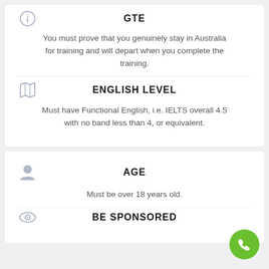GTE
You must prove that you genuinely stay in Australia for training and will depart when you complete the training.
ENGLISH LEVEL
Must have Functional English, i.e. IELTS overall 4.5 with no band less than 4, or equivalent.
AGE
Must be over 18 years old.
BE SPONSORED
[Figure (illustration): Green circular phone/call button (FAB) in bottom right corner]